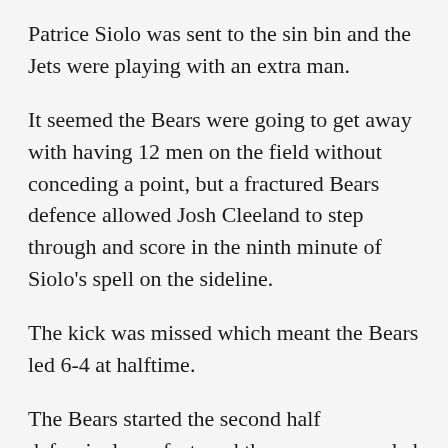Patrice Siolo was sent to the sin bin and the Jets were playing with an extra man.
It seemed the Bears were going to get away with having 12 men on the field without conceding a point, but a fractured Bears defence allowed Josh Cleeland to step through and score in the ninth minute of Siolo's spell on the sideline.
The kick was missed which meant the Bears led 6-4 at halftime.
The Bears started the second half defensively perfect, and they were rewarded for this effort 10 minutes into the second half when Dane